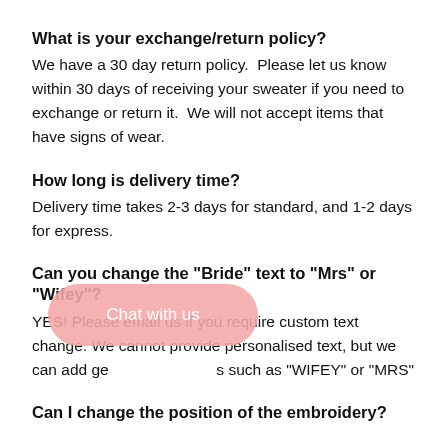What is your exchange/return policy?
We have a 30 day return policy.  Please let us know within 30 days of receiving your sweater if you need to exchange or return it.  We will not accept items that have signs of wear.
How long is delivery time?
Delivery time takes 2-3 days for standard, and 1-2 days for express.
Can you change the "Bride" text to "Mrs" or "Wifey"?
YES! Please email us if you require custom text change. We cannot provide personalised text, but we can add ge[Chat with us]s such as "WIFEY" or "MRS"
Can I change the position of the embroidery?